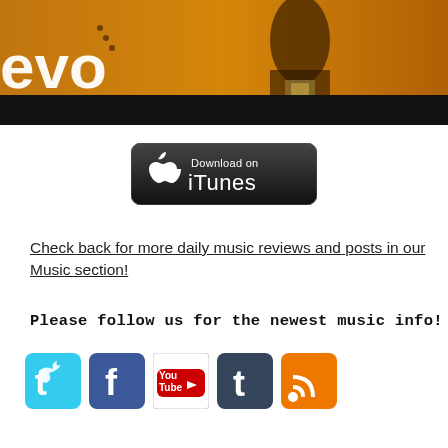[Figure (screenshot): Vevo music video banner with orange/amber background showing a performer, with 'evo' text logo visible in white on left side and a black bar at bottom]
[Figure (logo): Download on iTunes black badge button with Apple logo icon on left and 'Download on iTunes' text in white]
Check back for more daily music reviews and posts in our Music section!
Please follow us for the newest music info!
[Figure (infographic): Row of social media icons: Twitter (blue bird), Facebook (blue f), YouTube (red/white), Tumblr (blue t), RSS feed (orange)]